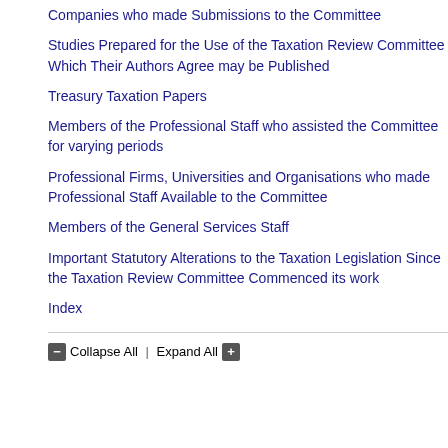Companies who made Submissions to the Committee
Studies Prepared for the Use of the Taxation Review Committee Which Their Authors Agree may be Published
Treasury Taxation Papers
Members of the Professional Staff who assisted the Committee for varying periods
Professional Firms, Universities and Organisations who made Professional Staff Available to the Committee
Members of the General Services Staff
Important Statutory Alterations to the Taxation Legislation Since the Taxation Review Committee Commenced its work
Index
(xlii) the Winsto
(xliii) a prescribe the provision of
(xliv) the Austral